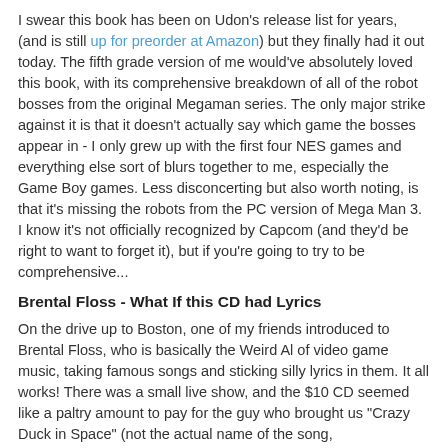I swear this book has been on Udon's release list for years, (and is still up for preorder at Amazon) but they finally had it out today. The fifth grade version of me would've absolutely loved this book, with its comprehensive breakdown of all of the robot bosses from the original Megaman series. The only major strike against it is that it doesn't actually say which game the bosses appear in - I only grew up with the first four NES games and everything else sort of blurs together to me, especially the Game Boy games. Less disconcerting but also worth noting, is that it's missing the robots from the PC version of Mega Man 3. I know it's not officially recognized by Capcom (and they'd be right to want to forget it), but if you're going to try to be comprehensive...
Brental Floss - What If this CD had Lyrics
On the drive up to Boston, one of my friends introduced to Brental Floss, who is basically the Weird Al of video game music, taking famous songs and sticking silly lyrics in them. It all works! There was a small live show, and the $10 CD seemed like a paltry amount to pay for the guy who brought us "Crazy Duck in Space" (not the actual name of the song,